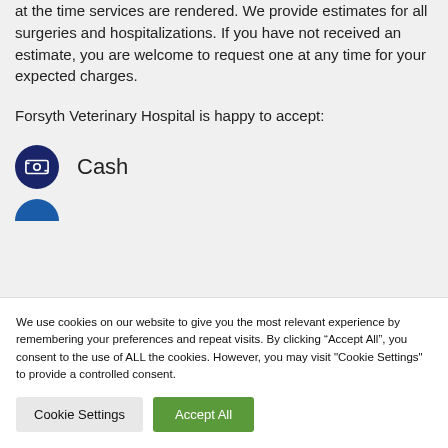at the time services are rendered. We provide estimates for all surgeries and hospitalizations. If you have not received an estimate, you are welcome to request one at any time for your expected charges.
Forsyth Veterinary Hospital is happy to accept:
Cash
We use cookies on our website to give you the most relevant experience by remembering your preferences and repeat visits. By clicking “Accept All”, you consent to the use of ALL the cookies. However, you may visit "Cookie Settings" to provide a controlled consent.